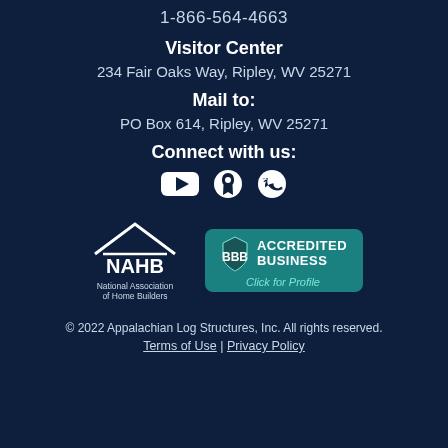1-866-564-4663
Visitor Center
234 Fair Oaks Way, Ripley, WV 25271
Mail to:
PO Box 614, Ripley, WV 25271
Connect with us:
[Figure (illustration): Social media icons: YouTube, Pinterest, Twitter]
[Figure (logo): NAHB National Association of Home Builders logo]
[Figure (logo): BBB Accredited Business badge with Click for Profile text]
© 2022 Appalachian Log Structures, Inc. All rights reserved. Terms of Use | Privacy Policy